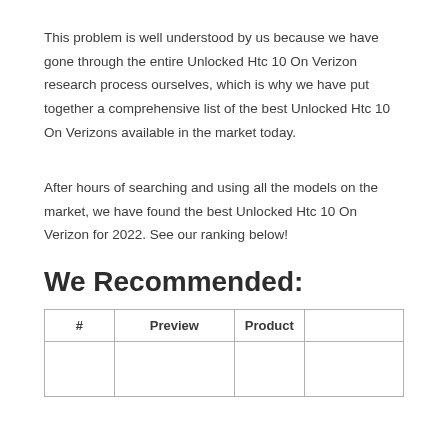This problem is well understood by us because we have gone through the entire Unlocked Htc 10 On Verizon research process ourselves, which is why we have put together a comprehensive list of the best Unlocked Htc 10 On Verizons available in the market today.
After hours of searching and using all the models on the market, we have found the best Unlocked Htc 10 On Verizon for 2022. See our ranking below!
We Recommended:
| # | Preview | Product |  |
| --- | --- | --- | --- |
|  |  |  |  |